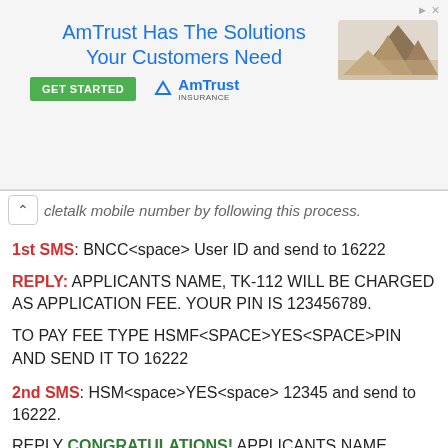[Figure (screenshot): AmTrust Insurance advertisement banner with headline 'AmTrust Has The Solutions Your Customers Need', a green GET STARTED button, AmTrust Insurance logo, and a mountain landscape graphic.]
cletalk mobile number by following this process.
1st SMS: BNCC<space> User ID and send to 16222
REPLY: APPLICANTS NAME, TK-112 WILL BE CHARGED AS APPLICATION FEE. YOUR PIN IS 123456789.
TO PAY FEE TYPE HSMF<SPACE>YES<SPACE>PIN AND SEND IT TO 16222
2nd SMS: HSM<space>YES<space> 12345 and send to 16222.
REPLY CONGRATULATIONS! APPLICANTS NAME, PAYMENT COMPLETED SUCCESSFULLY FOR BNCC JOB RECRUITMENT APPLICATION FOR POST IS